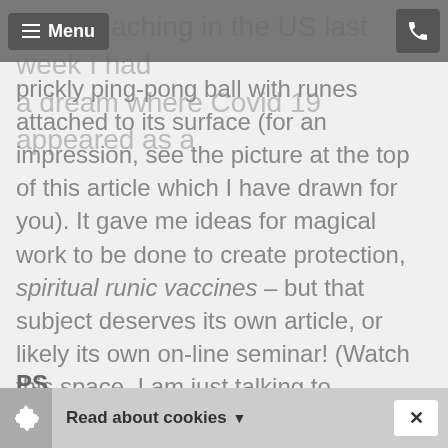Menu | [phone icon]
while teaching in the US last week I had a dream where Covid 19 appeared as a prickly ping-pong ball with runes attached to its surface (for an impression, see the picture at the top of this article which I have drawn for you). It gave me ideas for magical work to be done to create protection, spiritual runic vaccines – but that subject deserves its own article, or likely its own on-line seminar! (Watch this space, I am just talking to Christian Thurow about organising this!)
PS
Oh and one more thing: I find it fascinating
Read about cookies ▾  ✕